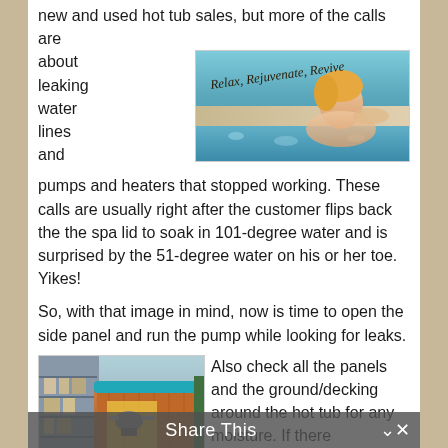new and used hot tub sales, but more of the calls are about leaking water lines and pumps and heaters that stopped working. These calls are usually right after the customer flips back the the spa lid to soak in 101-degree water and is surprised by the 51-degree water on his or her toe. Yikes!
[Figure (photo): Woman relaxing in a hot tub or spa with text 'Relax, Rejuvenate, Revive' overlaid in cursive script]
So, with that image in mind, now is time to open the side panel and run the pump while looking for leaks.
[Figure (photo): Photo of a hot tub with its side panel open, showing internal components including pumps and machinery, in what appears to be a service shop]
Also check all the panels and the ground/decking around the hot tub for any moisture. If there
Share This